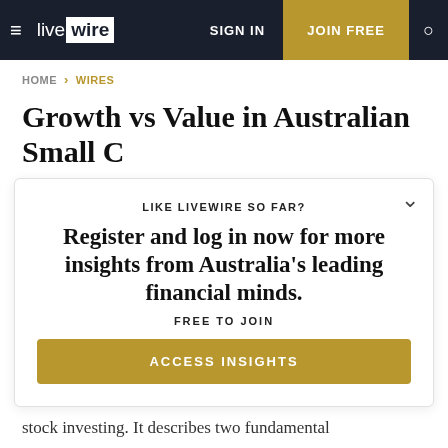live wire | SIGN IN | JOIN FREE
HOME > WIRES
Growth vs Value in Australian Small C...
LIKE LIVEWIRE SO FAR?
Register and log in now for more insights from Australia's leading financial minds.
FREE TO JOIN
ACCESS INSIGHTS
stock investing. It describes two fundamental